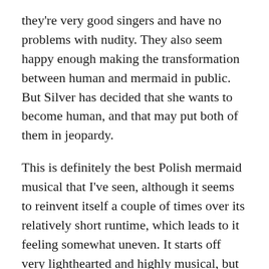they're very good singers and have no problems with nudity. They also seem happy enough making the transformation between human and mermaid in public. But Silver has decided that she wants to become human, and that may put both of them in jeopardy.
This is definitely the best Polish mermaid musical that I've seen, although it seems to reinvent itself a couple of times over its relatively short runtime, which leads to it feeling somewhat uneven. It starts off very lighthearted and highly musical, but over time becomes much more serious and much less straightforward.
Dayveon (2017; first-time watch) — Dayveon is a thirteen-year-old boy who recently lost his brother to gang violence. And now he finds himself being initiated into that same gang. At first, it's just companionship, but